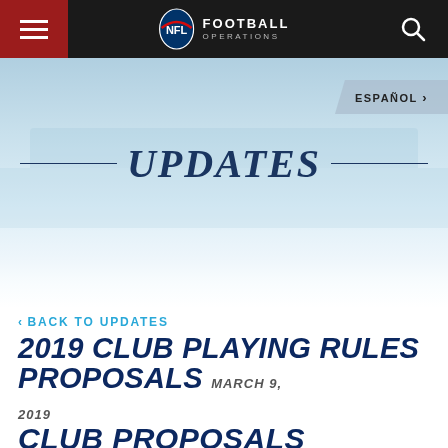NFL FOOTBALL OPERATIONS
[Figure (logo): NFL Football Operations navigation bar with hamburger menu on left (red background), NFL shield logo and FOOTBALL OPERATIONS text in center, search icon on right]
UPDATES
ESPAÑOL >
< BACK TO UPDATES
2019 CLUB PLAYING RULES PROPOSALS MARCH 9, 2019
CLUB PROPOSALS